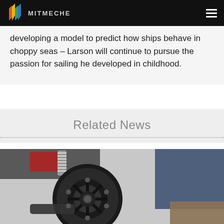MITMECHE
developing a model to predict how ships behave in choppy seas – Larson will continue to pursue the passion for sailing he developed in childhood.
Related News
[Figure (photo): Close-up photo of a mechanical wheel/pulley component with spring mechanism, with a person wearing work boots and overalls visible in the background]